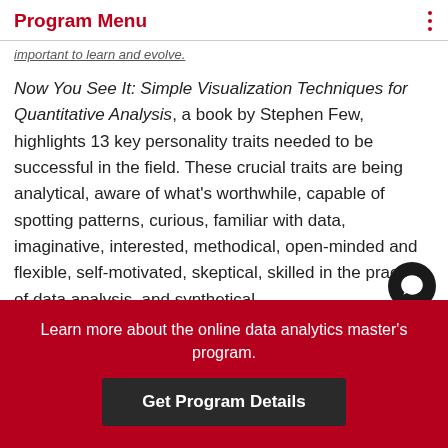Program Menu
important to learn and evolve.
Now You See It: Simple Visualization Techniques for Quantitative Analysis, a book by Stephen Few, highlights 13 key personality traits needed to be successful in the field. These crucial traits are being analytical, aware of what’s worthwhile, capable of spotting patterns, curious, familiar with data, imaginative, interested, methodical, open-minded and flexible, self-motivated, skeptical, skilled in the practice of data analysis, and synthetical.
Marketing Analyst Career Outloo…
Learn more about the online data analytics master’s program.
Get Program Details